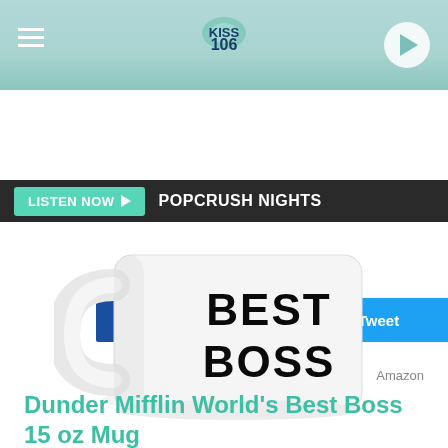[Figure (screenshot): KISS 106 radio station website header with logo, hamburger menu, and play button on teal gradient background]
LISTEN NOW ▶  POPCRUSH NIGHTS
[Figure (photo): White ceramic mug with 'BEST BOSS' printed in large bold black text on the side]
Amazon
Dunder Mifflin World's Best Boss 15 oz Mug